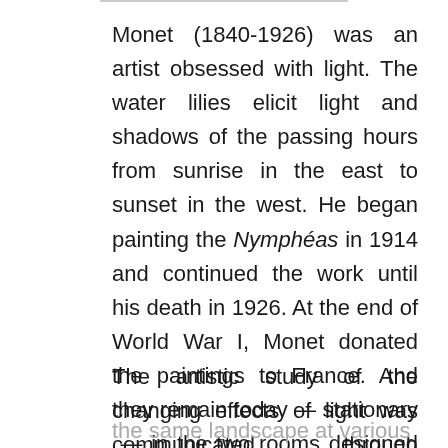Monet (1840-1926) was an artist obsessed with light. The water lilies elicit light and shadows of the passing hours from sunrise in the east to sunset in the west. He began painting the Nymphéas in 1914 and continued the work until his death in 1926. At the end of World War I, Monet donated the paintings to France. And they remain today — stationary — in the two rooms designed to house them as a “haven of peace” in the middle of bustling Paris.
The artistic study of the changing effects of light was communicated through painting the same landscape at various hours of the